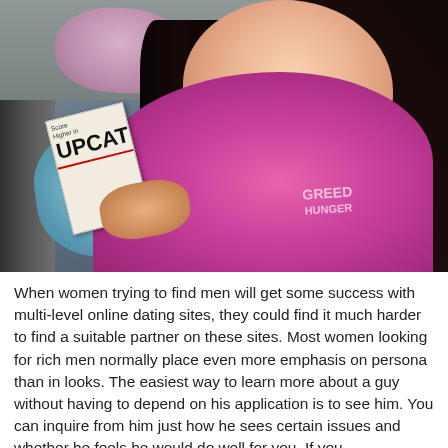[Figure (photo): A young woman with long dark hair sitting in a car, wearing a pink shirt with text on it, holding what appears to a magazine or booklet with 'UPCAT' visible on the cover. There are bags visible in the background including a light blue bag.]
When women trying to find men will get some success with multi-level online dating sites, they could find it much harder to find a suitable partner on these sites. Most women looking for rich men normally place even more emphasis on persona than in looks. The easiest way to learn more about a guy without having to depend on his application is to see him. You can inquire from him just how he sees certain issues and whether he feels he would do well for you. If you